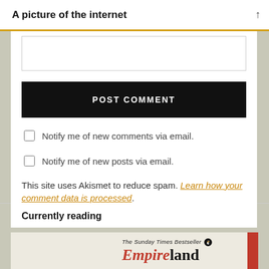A picture of the internet ↑
[Figure (screenshot): Empty textarea form field]
POST COMMENT
Notify me of new comments via email.
Notify me of new posts via email.
This site uses Akismet to reduce spam. Learn how your comment data is processed.
Currently reading
[Figure (photo): Book cover showing 'Empireland' - The Sunday Times Bestseller with Penguin logo and red bar on right side]